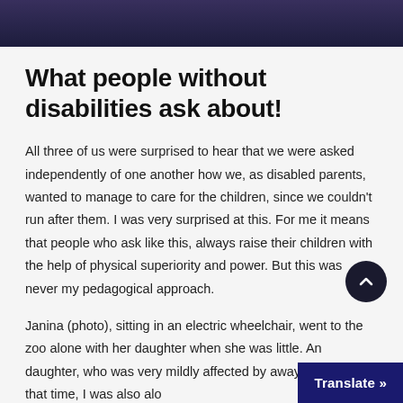[Figure (photo): Partial photo strip at the top of the page showing people in dark clothing]
What people without disabilities ask about!
All three of us were surprised to hear that we were asked independently of one another how we, as disabled parents, wanted to manage to care for the children, since we couldn't run after them. I was very surprised at this. For me it means that people who ask like this, always raise their children with the help of physical superiority and power. But this was never my pedagogical approach.
Janina (photo), sitting in an electric wheelchair, went to the zoo alone with her daughter when she was little. An daughter, who was very mildly affected by away from her. At that time, I was also alo